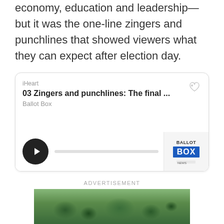economy, education and leadership—but it was the one-line zingers and punchlines that showed viewers what they can expect after election day.
[Figure (other): iHeart podcast embed card titled '03 Zingers and punchlines: The final ...' from Ballot Box podcast, with a play button and audio progress bar, and a Ballot Box / NEWS logo thumbnail.]
ADVERTISEMENT
[Figure (photo): Outdoor photo showing green trees against a sky, partially visible at the bottom of the page.]